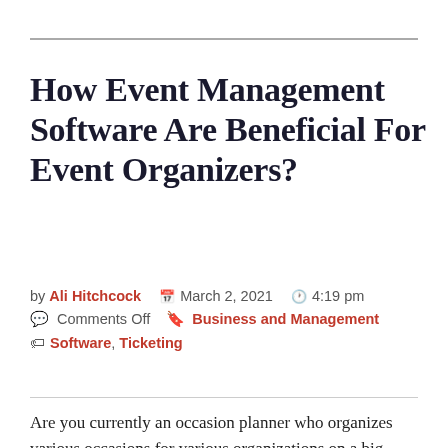How Event Management Software Are Beneficial For Event Organizers?
by Ali Hitchcock   March 2, 2021   4:19 pm   Comments Off   Business and Management   Software, Ticketing
Are you currently an occasion planner who organizes various occasions for various organizations on a big scale? Why don't you